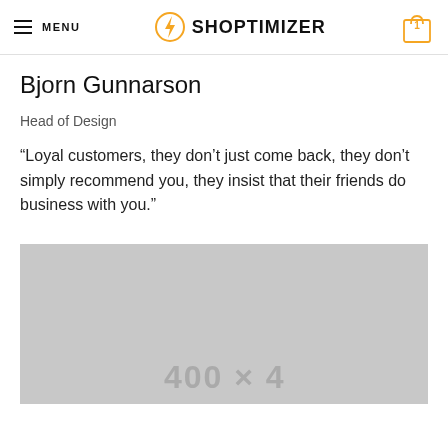MENU | SHOPTIMIZER | 1
Bjorn Gunnarson
Head of Design
“Loyal customers, they don’t just come back, they don’t simply recommend you, they insist that their friends do business with you.”
[Figure (photo): Grey placeholder image with watermark-style dimension text at the bottom]